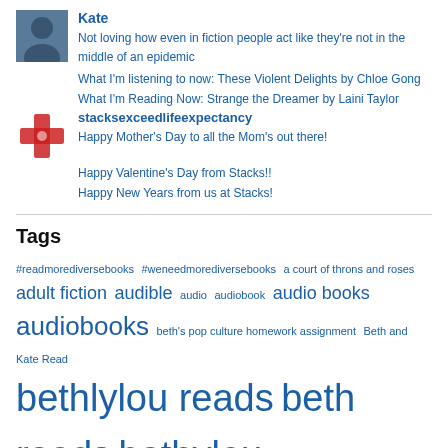Kate
Not loving how even in fiction people act like they're not in the middle of an epidemic
What I'm listening to now: These Violent Delights by Chloe Gong
What I'm Reading Now: Strange the Dreamer by Laini Taylor
stacksexceedlifeexpectancy
Happy Mother's Day to all the Mom's out there!
Happy Valentine's Day from Stacks!!
Happy New Years from us at Stacks!
Tags
#readmorediversebooks #weneedmorediversebooks a court of throns and roses adult fiction audible audio audiobook audio books audiobooks beth's pop culture homework assignment Beth and Kate Read bethlylou reads beth reads bethylou reads